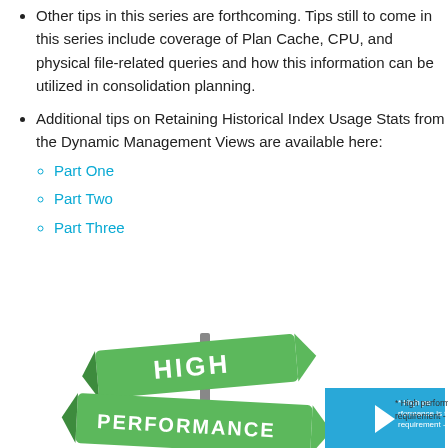Other tips in this series are forthcoming. Tips still to come in this series include coverage of Plan Cache, CPU, and physical file-related queries and how this information can be utilized in consolidation planning.
Additional tips on Retaining Historical Index Usage Stats from the Dynamic Management Views are available here:
Part One
Part Two
Part Three
[Figure (photo): Street signs reading HIGH and PERFORMANCE in green, with a blue video thumbnail overlay showing text 'High performance is the unwritten requirement - 24x7x365']